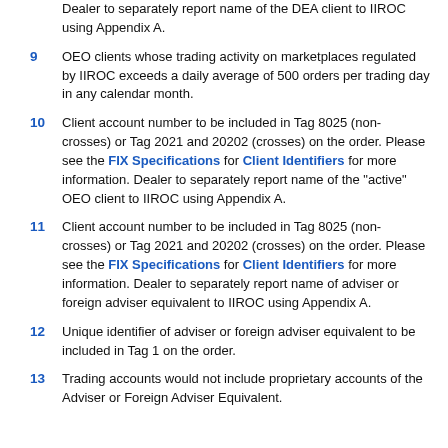Dealer to separately report name of the DEA client to IIROC using Appendix A.
9   OEO clients whose trading activity on marketplaces regulated by IIROC exceeds a daily average of 500 orders per trading day in any calendar month.
10  Client account number to be included in Tag 8025 (non-crosses) or Tag 2021 and 20202 (crosses) on the order. Please see the FIX Specifications for Client Identifiers for more information. Dealer to separately report name of the "active" OEO client to IIROC using Appendix A.
11  Client account number to be included in Tag 8025 (non-crosses) or Tag 2021 and 20202 (crosses) on the order. Please see the FIX Specifications for Client Identifiers for more information. Dealer to separately report name of adviser or foreign adviser equivalent to IIROC using Appendix A.
12  Unique identifier of adviser or foreign adviser equivalent to be included in Tag 1 on the order.
13  Trading accounts would not include proprietary accounts of the Adviser or Foreign Adviser Equivalent.